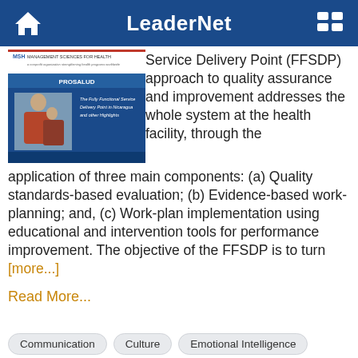LeaderNet
[Figure (screenshot): Book cover for PROSALUD publication titled 'The Fully Functional Service Delivery Point in Nicaragua and other Highlights' published by MSH Management Sciences for Health.]
Service Delivery Point (FFSDP) approach to quality assurance and improvement addresses the whole system at the health facility, through the application of three main components: (a) Quality standards-based evaluation; (b) Evidence-based work-planning; and, (c) Work-plan implementation using educational and intervention tools for performance improvement. The objective of the FFSDP is to turn [more...]
Read More...
Communication
Culture
Emotional Intelligence